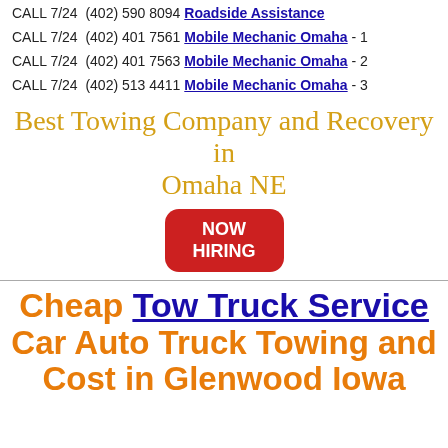CALL 7/24  (402) 590 8094  Roadside Assistance
CALL 7/24  (402) 401 7561  Mobile Mechanic Omaha - 1
CALL 7/24  (402) 401 7563  Mobile Mechanic Omaha - 2
CALL 7/24  (402) 513 4411  Mobile Mechanic Omaha - 3
Best Towing Company and Recovery in Omaha NE
[Figure (infographic): Red rounded rectangle button with white bold text reading NOW HIRING]
Cheap Tow Truck Service Car Auto Truck Towing and Cost in Glenwood Iowa